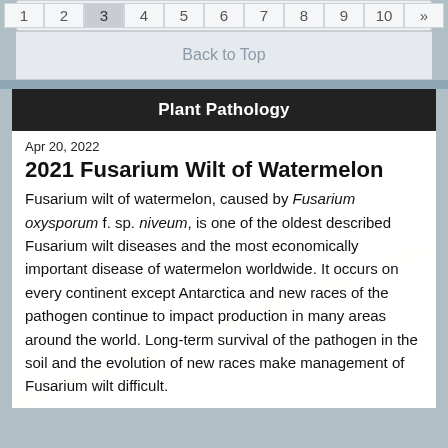1 2 3 4 5 6 7 8 9 10 »
Back to Top
Plant Pathology
Apr 20, 2022
2021 Fusarium Wilt of Watermelon
Fusarium wilt of watermelon, caused by Fusarium oxysporum f. sp. niveum, is one of the oldest described Fusarium wilt diseases and the most economically important disease of watermelon worldwide. It occurs on every continent except Antarctica and new races of the pathogen continue to impact production in many areas around the world. Long-term survival of the pathogen in the soil and the evolution of new races make management of Fusarium wilt difficult.